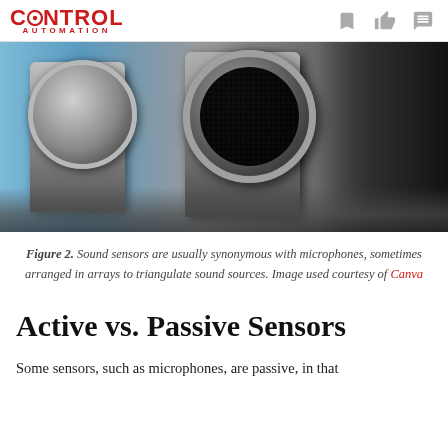CONTROL AUTOMATION
[Figure (photo): Close-up photograph of two cylindrical ultrasonic sensor transducers, one smaller on the left and one larger on the right with a mesh grid visible inside, against a blurred blue and dark background.]
Figure 2. Sound sensors are usually synonymous with microphones, sometimes arranged in arrays to triangulate sound sources. Image used courtesy of Canva
Active vs. Passive Sensors
Some sensors, such as microphones, are passive, in that